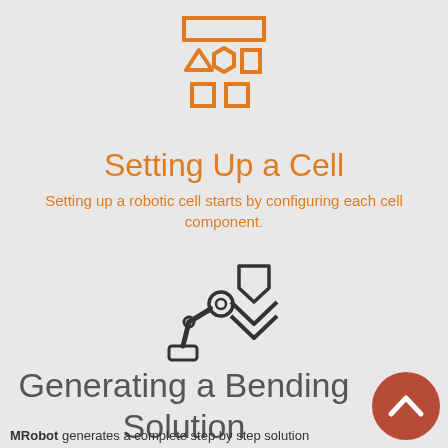[Figure (illustration): Orange outline icon showing shelving/storage unit with shapes: rectangle on top, triangle, hexagon, rectangle on right, two small squares below — representing cell components configuration]
Setting Up a Cell
Setting up a robotic cell starts by configuring each cell component.
[Figure (illustration): Black outline icon of a robotic arm with a wrench/claw end approaching a bending die shape (chevron/V shape), representing a bending robot operation]
Generating a Bending Solution
MRobot generates a complete step by step solution